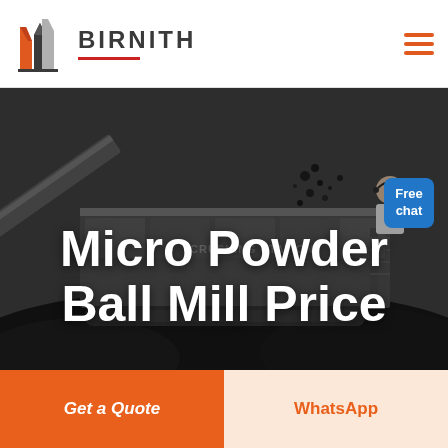[Figure (logo): Birnith company logo: orange and red building/construction icon with BIRNITH text and red underline]
BIRNITH
[Figure (photo): Industrial crushing station machinery photograph with coal/aggregate material, dark tones, large mechanical equipment visible]
[Figure (other): Free chat button badge in blue, with cartoon customer service representative figure]
Micro Powder Ball Mill Price
Get a Quote
WhatsApp